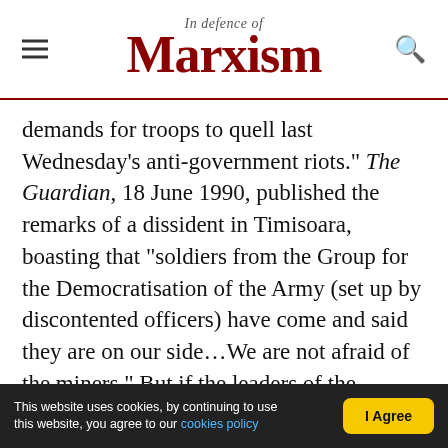In Defence of Marxism
demands for troops to quell last Wednesday's anti-government riots." The Guardian, 18 June 1990, published the remarks of a dissident in Timisoara, boasting that "soldiers from the Group for the Democratisation of the Army (set up by discontented officers) have come and said they are on our side…We are not afraid of the miners." But if the leaders of the movement were counting on this scenario, they were doomed to be disappointed. The army initially waited on the sidelines - and then came down on the side of the government.

It was the decisive action of the workers – not just
This website uses cookies, by continuing to use this website, you agree to our cookies policy